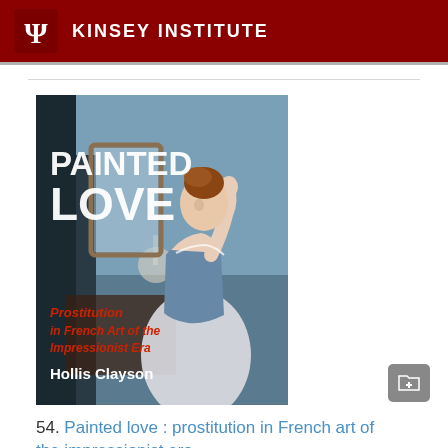KINSEY INSTITUTE
[Figure (photo): Book cover of 'Painted Love: Prostitution in French Art of the Impressionist Era' by Hollis Clayson. Shows a woman in a white dress from a French Impressionist painting. Title 'PAINTED LOVE' in large white text, subtitle 'Prostitution in French Art of the Impressionist Era' in red italic text, author 'Hollis Clayson' in white text.]
54. Painted love : prostitution in French art of the impressionist era